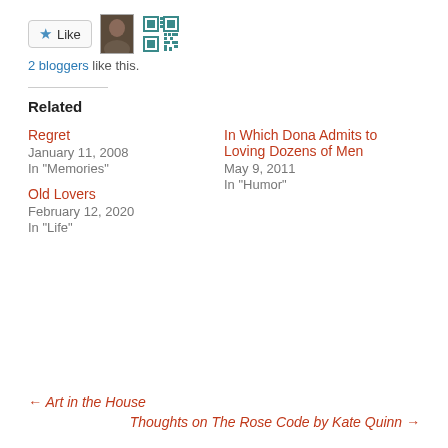[Figure (other): Like button with star icon, blogger avatar photo, and QR code icon]
2 bloggers like this.
Related
Regret
January 11, 2008
In "Memories"
In Which Dona Admits to Loving Dozens of Men
May 9, 2011
In "Humor"
Old Lovers
February 12, 2020
In "Life"
← Art in the House
Thoughts on The Rose Code by Kate Quinn →